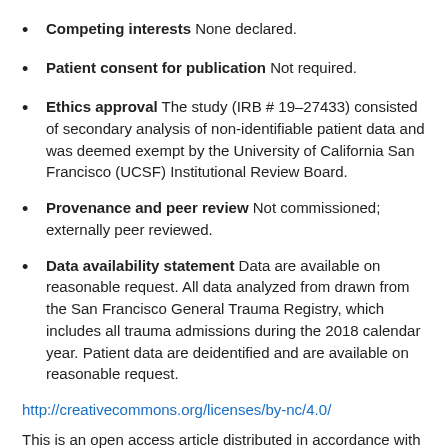Competing interests None declared.
Patient consent for publication Not required.
Ethics approval The study (IRB # 19–27433) consisted of secondary analysis of non-identifiable patient data and was deemed exempt by the University of California San Francisco (UCSF) Institutional Review Board.
Provenance and peer review Not commissioned; externally peer reviewed.
Data availability statement Data are available on reasonable request. All data analyzed from drawn from the San Francisco General Trauma Registry, which includes all trauma admissions during the 2018 calendar year. Patient data are deidentified and are available on reasonable request.
http://creativecommons.org/licenses/by-nc/4.0/
This is an open access article distributed in accordance with the Creative Commons Attribution Non Commercial (CC BY-NC 4.0) license, which permits others to distribute, remix, adapt, build upon